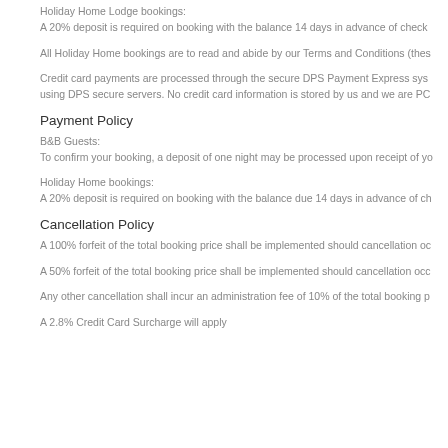Holiday Home Lodge bookings:
A 20% deposit is required on booking with the balance 14 days in advance of check
All Holiday Home bookings are to read and abide by our Terms and Conditions (thes
Credit card payments are processed through the secure DPS Payment Express sys using DPS secure servers. No credit card information is stored by us and we are PC
Payment Policy
B&B Guests:
To confirm your booking, a deposit of one night may be processed upon receipt of yo
Holiday Home bookings:
A 20% deposit is required on booking with the balance due 14 days in advance of ch
Cancellation Policy
A 100% forfeit of the total booking price shall be implemented should cancellation oc
A 50% forfeit of the total booking price shall be implemented should cancellation occ
Any other cancellation shall incur an administration fee of 10% of the total booking p
A 2.8% Credit Card Surcharge will apply